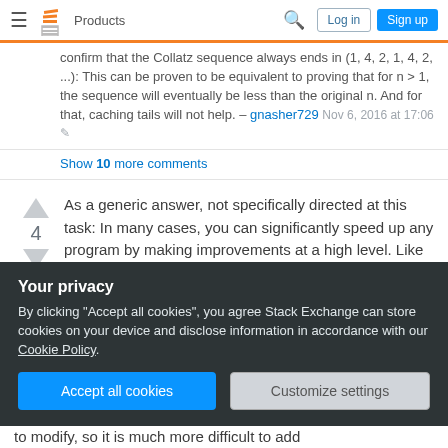≡ [Stack Overflow logo] Products 🔍 Log in Sign up
confirm that the Collatz sequence always ends in (1, 4, 2, 1, 4, 2, ...): This can be proven to be equivalent to proving that for n > 1, the sequence will eventually be less than the original n. And for that, caching tails will not help. – gnasher729 Nov 6, 2016 at 17:06 ✎
Show 10 more comments
As a generic answer, not specifically directed at this task: In many cases, you can significantly speed up any program by making improvements at a high level. Like calculating data once instead of multiple times, avoiding unnecessary work completely, using
Your privacy
By clicking "Accept all cookies", you agree Stack Exchange can store cookies on your device and disclose information in accordance with our Cookie Policy.
Accept all cookies   Customize settings
to modify, so it is much more difficult to add